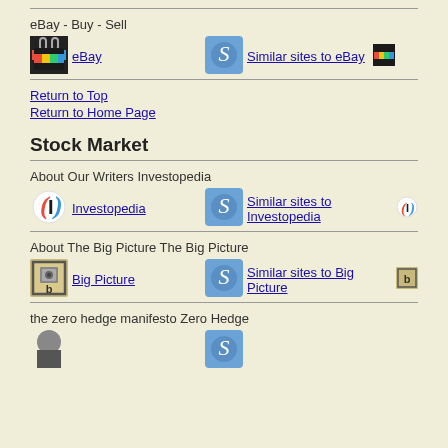eBay - Buy - Sell
[Figure (logo): eBay logo icon (colorful shopping bag)]
eBay
[Figure (logo): Similar sites logo (blue circle with S)]
Similar sites to eBay
Return to Top
Return to Home Page
Stock Market
About Our Writers Investopedia
[Figure (logo): Investopedia logo icon (red/blue I symbol)]
Investopedia
[Figure (logo): Similar sites logo (blue circle with S)]
Similar sites to Investopedia
About The Big Picture The Big Picture
[Figure (logo): Big Picture logo icon (floppy disk with b)]
Big Picture
[Figure (logo): Similar sites logo (blue circle with S)]
Similar sites to Big Picture
the zero hedge manifesto Zero Hedge
[Figure (logo): Zero Hedge logo icon (partially visible)]
[Figure (logo): Similar sites logo (blue circle with S, partially visible)]